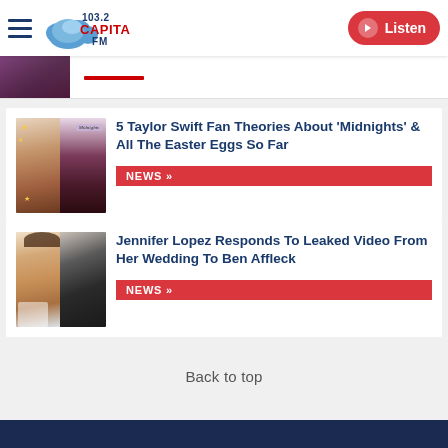103.2 Capital FM — Listen
[Figure (screenshot): Partial top article thumbnail strip with red underline accent]
5 Taylor Swift Fan Theories About 'Midnights' & All The Easter Eggs So Far
NEWS »
Jennifer Lopez Responds To Leaked Video From Her Wedding To Ben Affleck
NEWS »
Back to top